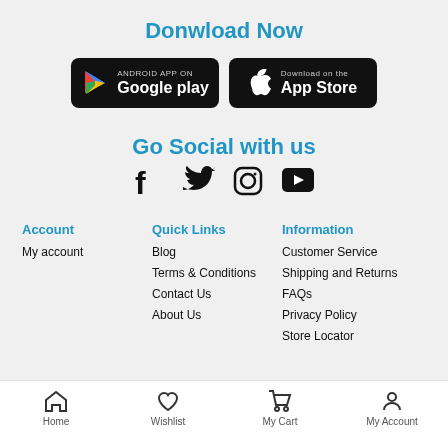Donwload Now
[Figure (illustration): Google Play and App Store download buttons]
Go Social with us
[Figure (illustration): Social media icons: Facebook, Twitter, Instagram, YouTube]
Account
My account
Quick Links
Blog
Terms & Conditions
Contact Us
About Us
Information
Customer Service
Shipping and Returns
FAQs
Privacy Policy
Store Locator
Home  Wishlist  My Cart  My Account